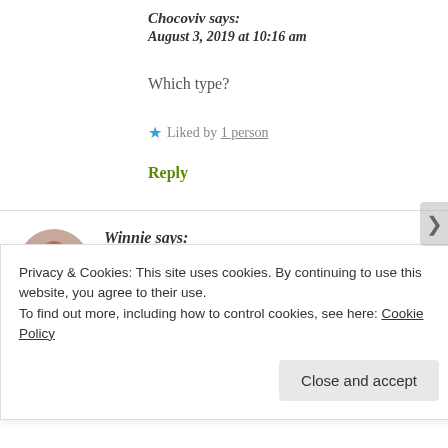Chocoviv says:
August 3, 2019 at 10:16 am
Which type?
★ Liked by 1 person
Reply
Winnie says:
August 3, 2019 at 10:18 am
Privacy & Cookies: This site uses cookies. By continuing to use this website, you agree to their use.
To find out more, including how to control cookies, see here: Cookie Policy
Close and accept